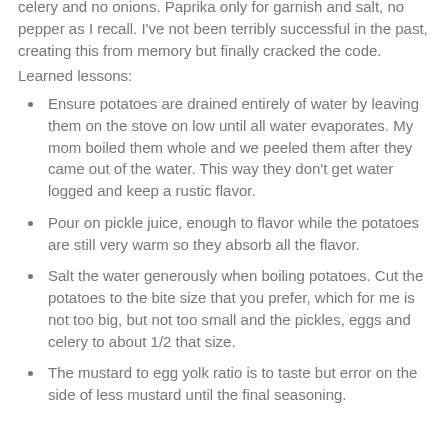celery and no onions.  Paprika only for garnish and salt, no pepper as I recall.  I've not been terribly successful in the past, creating this from memory but finally cracked the code.
Learned lessons:
Ensure potatoes are drained entirely of water by leaving them on the stove on low until all water evaporates.  My mom boiled them whole and we peeled them after they came out of the water. This way they don't get water logged and keep a rustic flavor.
Pour on pickle juice, enough to flavor while the potatoes are still very warm so they absorb all the flavor.
Salt the water generously when boiling potatoes. Cut the potatoes to the bite size that you prefer, which for me is not too big, but not too small and the pickles, eggs and celery to about 1/2 that size.
The mustard to egg yolk ratio is to taste but error on the side of less mustard until the final seasoning.